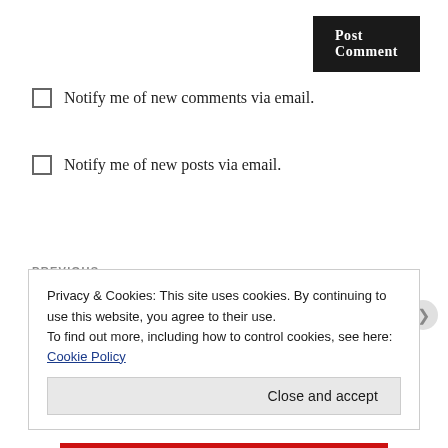Post Comment
Notify me of new comments via email.
Notify me of new posts via email.
PREVIOUS
← 30 Days of Fright – 01: Beetlejuice
Privacy & Cookies: This site uses cookies. By continuing to use this website, you agree to their use.
To find out more, including how to control cookies, see here: Cookie Policy
Close and accept